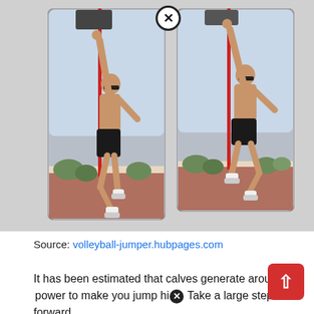[Figure (photo): Two side-by-side photos of a shirtless male athlete in black shorts jumping vertically, reaching up to touch a high measurement device on a red pole, photographed outdoors. The left image shows the athlete mid-jump with one leg bent; the right image shows the athlete airborne with both feet off the ground. There is a close (X) icon in the top-right area of the image pair.]
Source: volleyball-jumper.hubpages.com
It has been estimated that calves generate around [text cut off] power to make you jump hig[X] Take a large step forward